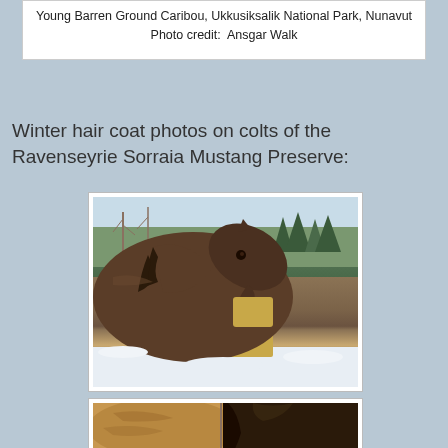Young Barren Ground Caribou, Ukkusiksalik National Park, Nunavut
Photo credit:  Ansgar Walk
Winter hair coat photos on colts of the Ravenseyrie Sorraia Mustang Preserve:
[Figure (photo): A dark brown horse (colt) with a thick winter coat eating hay, set against a snowy background with evergreen trees.]
[Figure (photo): Close-up of a horse with golden-brown and dark coloring, partial view showing winter coat detail.]